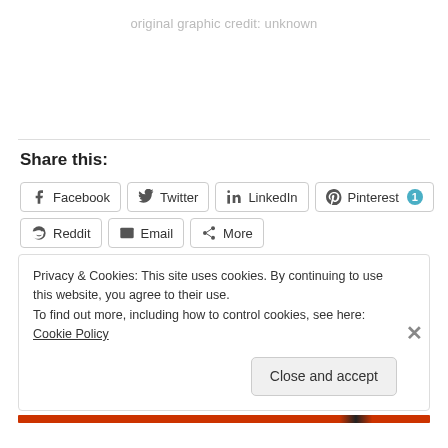original graphic credit: unknown
Share this:
Facebook Twitter LinkedIn Pinterest 1 Reddit Email More
Privacy & Cookies: This site uses cookies. By continuing to use this website, you agree to their use.
To find out more, including how to control cookies, see here: Cookie Policy
Close and accept